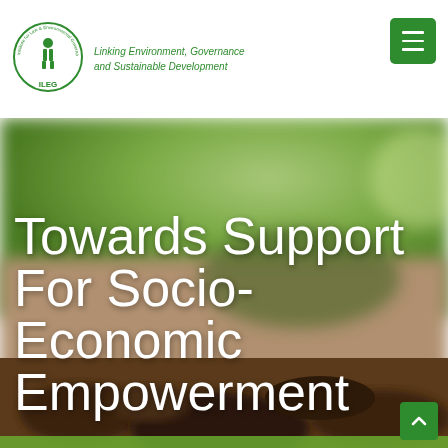[Figure (logo): ILEG circular logo — Institute for Law and Environmental Governance — with green figure and text around border, labeled ILEG at bottom]
Linking Environment, Governance and Sustainable Development
[Figure (photo): Background hero photo of soil and green vegetation, blurred bokeh background]
Towards Support For Socio-Economic Empowerment